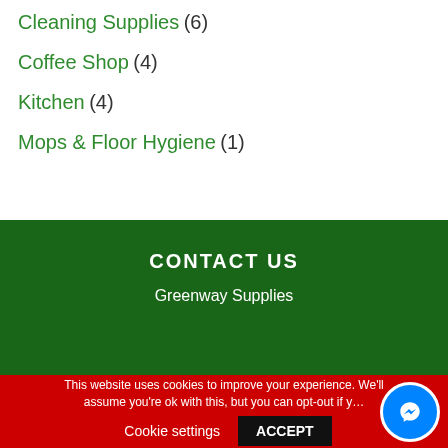Cleaning Supplies (6)
Coffee Shop (4)
Kitchen (4)
Mops & Floor Hygiene (1)
CONTACT US
Greenway Supplies
This website uses cookies to improve your experience. We'll assume you're ok with this, but you can opt-out if y…
Cookie settings  ACCEPT